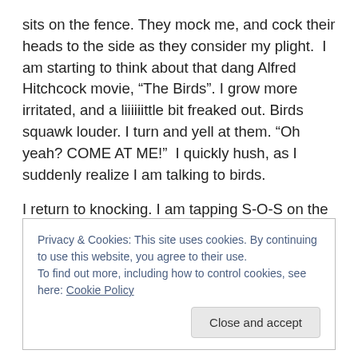sits on the fence. They mock me, and cock their heads to the side as they consider my plight.  I am starting to think about that dang Alfred Hitchcock movie, “The Birds”. I grow more irritated, and a liiiiiittle bit freaked out. Birds squawk louder. I turn and yell at them. “Oh yeah? COME AT ME!”  I quickly hush, as I suddenly realize I am talking to birds.
I return to knocking. I am tapping S-O-S on the door now. Maybe some military veteran will hear the code, recognize my distress call, and come rescue me.
Privacy & Cookies: This site uses cookies. By continuing to use this website, you agree to their use.
To find out more, including how to control cookies, see here: Cookie Policy